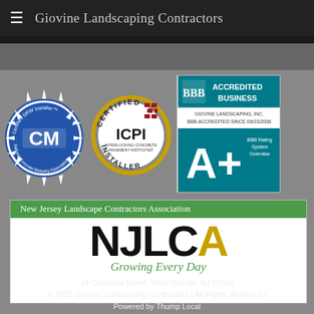Giovine Landscaping Contractors
[Figure (logo): Certified SRW Installer - National Concrete Masonry Association circular blue logo]
[Figure (logo): Certified ICPI Installer - Interlocking Concrete Pavement Institute circular gold/white logo]
[Figure (logo): BBB Accredited Business - A+ Rating badge for Giovine Landscaping Inc, accredited since 09/23/2008]
[Figure (logo): New Jersey Landscape Contractors Association (NJLCA) - Growing Every Day]
14 Columbia Street, West Orange. NJ 07052
© 2022 Giovine Landscaping Contractors | All Rights Reserved |
Powered by Thump Local